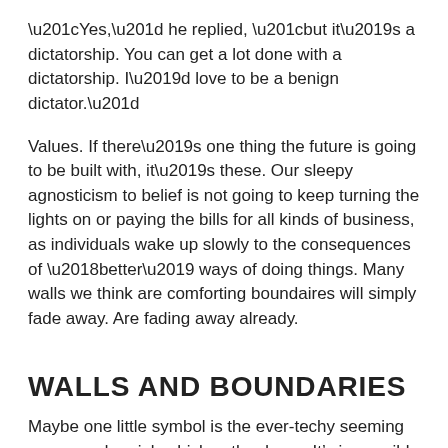“Yes,” he replied, “but it’s a dictatorship. You can get a lot done with a dictatorship. I’d love to be a benign dictator.”
Values. If there’s one thing the future is going to be built with, it’s these. Our sleepy agnosticism to belief is not going to keep turning the lights on or paying the bills for all kinds of business, as individuals wake up slowly to the consequences of ‘better’ ways of doing things. Many walls we think are comforting boundaires will simply fade away. Are fading away already.
WALLS AND BOUNDARIES
Maybe one little symbol is the ever-techy seeming unmanned aerial vehicle – the drone. It’s impossible to imagine TV filmmaking without these four-fan floating camera platforms now; we can pick ‘em up plakky-cheap